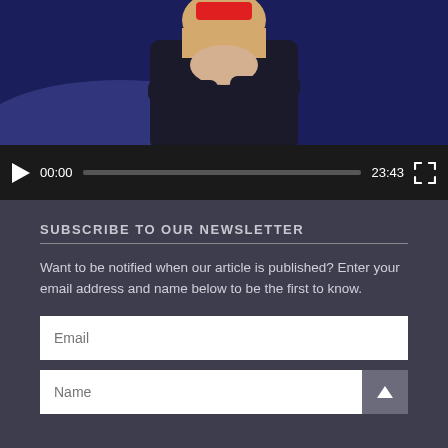[Figure (screenshot): Video player showing a TV studio scene with a person in a dark jacket and light-colored scarf against a blue background. Video controls show play button, timestamp 00:00, progress bar, duration 23:43, and fullscreen button.]
SUBSCRIBE TO OUR NEWSLETTER
Want to be notified when our article is published? Enter your email address and name below to be the first to know.
Email
Name